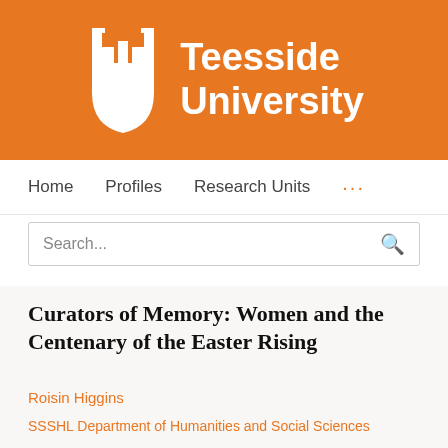[Figure (logo): Teesside University logo with white U shield on orange background and white text]
Home   Profiles   Research Units   ...
Search...
Curators of Memory: Women and the Centenary of the Easter Rising
Roisin Higgins
SSSHL Department of Humanities and Social Sciences